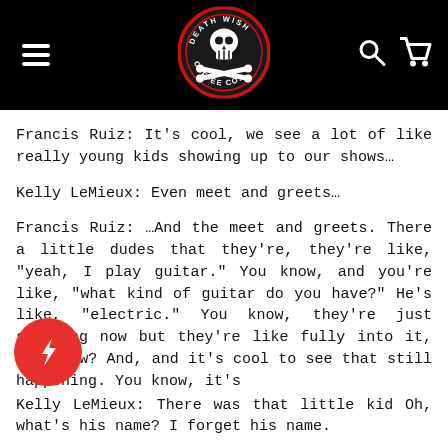[Figure (logo): Death Wish Coffee Co. logo — skull and crossbones in a circular badge with red border, on black navigation bar with hamburger menu, search icon, and cart icon]
Francis Ruiz: It's cool, we see a lot of like really young kids showing up to our shows…
Kelly LeMieux: Even meet and greets…
Francis Ruiz: …And the meet and greets. There a little dudes that they're, they're like, "yeah, I play guitar." You know, and you're like, "what kind of guitar do you have?" He's like, "electric." You know, they're just starting now but they're like fully into it, you know? And, and it's cool to see that still happening. You know, it's
Kelly LeMieux: There was that little kid Oh, what's his name? I forget his name.